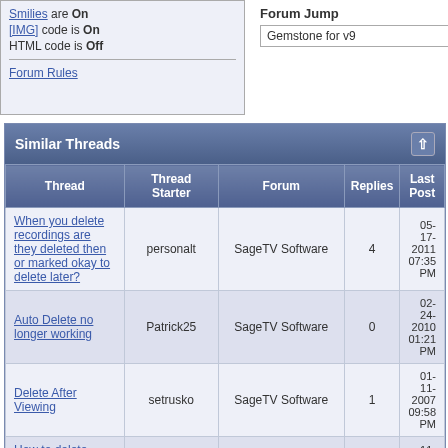Smilies are On
[IMG] code is On
HTML code is Off
Forum Rules
Forum Jump
Gemstone for v9
| Thread | Thread Starter | Forum | Replies | Last Post |
| --- | --- | --- | --- | --- |
| When you delete recordings are they deleted then or marked okay to delete later? | personalt | SageTV Software | 4 | 05-17-2011 07:35 PM |
| Auto Delete no longer working | Patrick25 | SageTV Software | 0 | 02-24-2010 01:21 PM |
| Delete After Viewing | setrusko | SageTV Software | 1 | 01-11-2007 09:58 PM |
| How to delete |  |  |  | 11- |